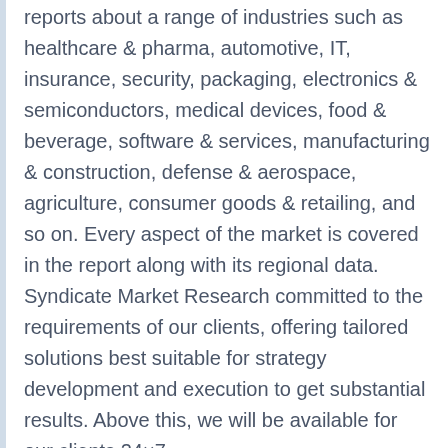reports about a range of industries such as healthcare & pharma, automotive, IT, insurance, security, packaging, electronics & semiconductors, medical devices, food & beverage, software & services, manufacturing & construction, defense & aerospace, agriculture, consumer goods & retailing, and so on. Every aspect of the market is covered in the report along with its regional data. Syndicate Market Research committed to the requirements of our clients, offering tailored solutions best suitable for strategy development and execution to get substantial results. Above this, we will be available for our clients 24×7.
Contact Us